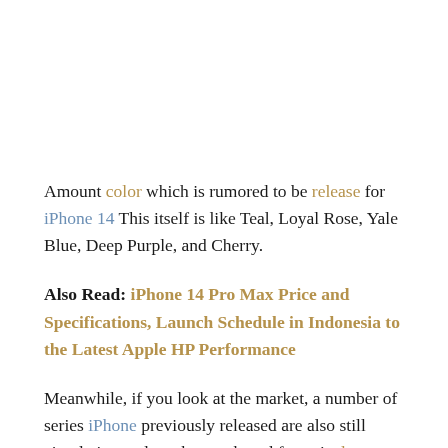Amount color which is rumored to be release for iPhone 14 This itself is like Teal, Loyal Rose, Yale Blue, Deep Purple, and Cherry.
Also Read: iPhone 14 Pro Max Price and Specifications, Launch Schedule in Indonesia to the Latest Apple HP Performance
Meanwhile, if you look at the market, a number of series iPhone previously released are also still circulating and can be purchased for units latest to date.